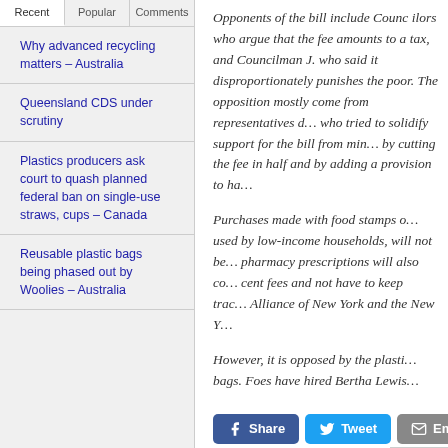Recent | Popular | Comments
Why advanced recycling matters – Australia
Queensland CDS under scrutiny
Plastics producers ask court to quash planned federal ban on single-use straws, cups – Canada
Reusable plastic bags being phased out by Woolies – Australia
Opponents of the bill include Counc... amounts to a tax, and Councilman J... disproportionately punishes the po... mostly come from representatives o... solidify support for the bill from min... half and by adding a provision to ha...
Purchases made with food stamps o... low-income households, will not be... pharmacy prescriptions will also co... cent fees and not have to keep trac... Alliance of New York and the New Y...
However, it is opposed by the plasti... bags. Foes have hired Bertha Lewis...